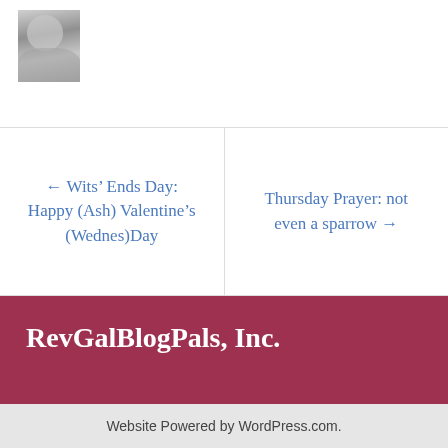[Figure (photo): Small black and white avatar/profile photo of a woman]
← Wits' Ends Day: Happy (Ash) Valentine's (Wednes)Day
Thursday Prayer: not even a sparrow →
RevGalBlogPals, Inc.
revgalblogpals@gmail.com
Website Powered by WordPress.com.